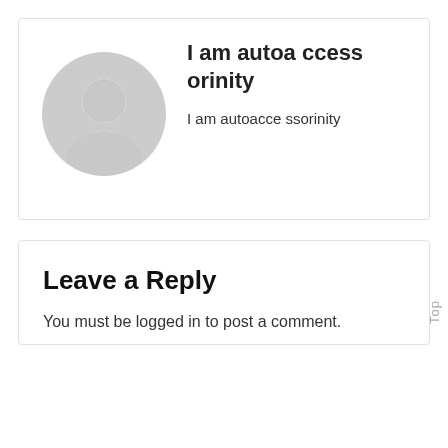[Figure (illustration): Default avatar/profile image: a gray circular silhouette of a person on a white background]
I am autoaccessorinity
I am autoaccessorinity
Leave a Reply
You must be logged in to post a comment.